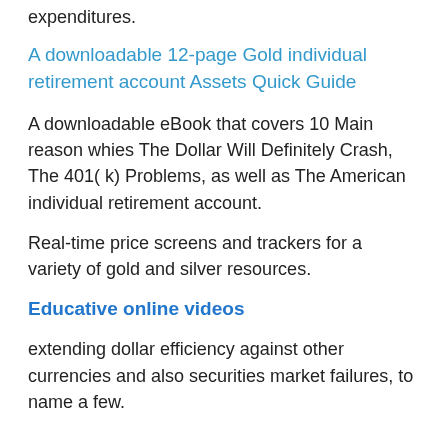expenditures.
A downloadable 12-page Gold individual retirement account Assets Quick Guide
A downloadable eBook that covers 10 Main reason whies The Dollar Will Definitely Crash, The 401( k) Problems, as well as The American individual retirement account.
Real-time price screens and trackers for a variety of gold and silver resources.
Educative online videos
extending dollar efficiency against other currencies and also securities market failures, to name a few.